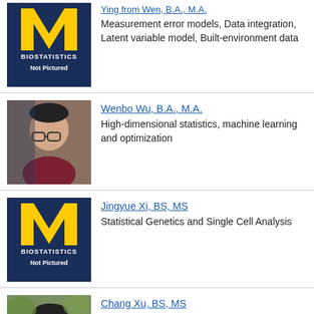[Figure (photo): University of Michigan Biostatistics 'Not Pictured' placeholder logo - dark navy background with yellow M logo]
Measurement error models, Data integration, Latent variable model, Built-environment data
[Figure (photo): Photo of Wenbo Wu, a young man with glasses wearing a dark red shirt]
Wenbo Wu, B.A., M.A.
High-dimensional statistics, machine learning and optimization
[Figure (photo): University of Michigan Biostatistics 'Not Pictured' placeholder logo]
Jingyue Xi, BS, MS
Statistical Genetics and Single Cell Analysis
[Figure (photo): Photo of Chang Xu, partial view of a young man outdoors]
Chang Xu, BS, MS
Statistical Genetics